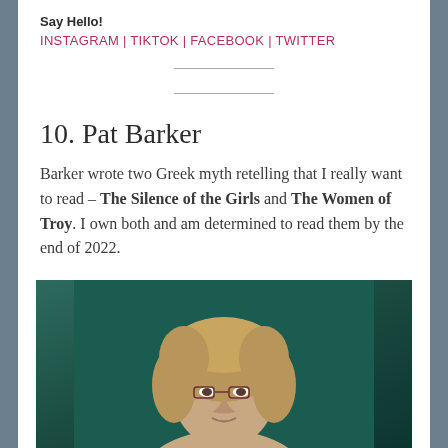Say Hello!
INSTAGRAM | TIKTOK | FACEBOOK | TWITTER
10. Pat Barker
Barker wrote two Greek myth retelling that I really want to read – The Silence of the Girls and The Women of Troy. I own both and am determined to read them by the end of 2022.
[Figure (photo): Portrait photograph of Pat Barker, a woman with short blonde/auburn hair wearing glasses, photographed against a dark teal/green background]